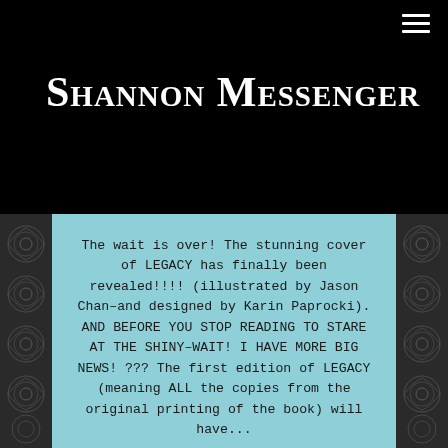Shannon Messenger
The wait is over! The stunning cover of LEGACY has finally been revealed!!!! (illustrated by Jason Chan–and designed by Karin Paprocki). AND BEFORE YOU STOP READING TO STARE AT THE SHINY–WAIT! I HAVE MORE BIG NEWS! ??? The first edition of LEGACY (meaning ALL the copies from the original printing of the book) will have...